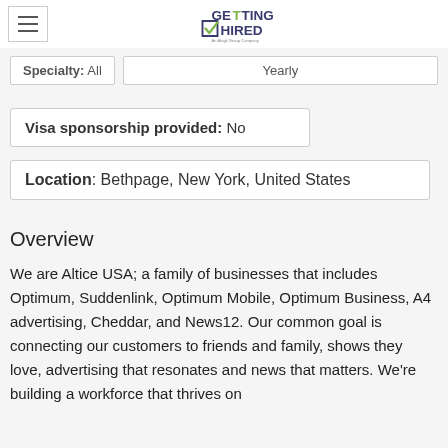[Figure (logo): Getting Hired logo - An Abigil Group Company]
Specialty: All
Yearly
Visa sponsorship provided: No
Location: Bethpage, New York, United States
Overview
We are Altice USA; a family of businesses that includes Optimum, Suddenlink, Optimum Mobile, Optimum Business, A4 advertising, Cheddar, and News12. Our common goal is connecting our customers to friends and family, shows they love, advertising that resonates and news that matters. We're building a workforce that thrives on